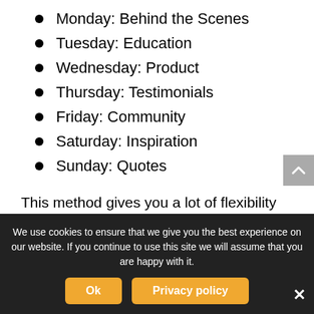Monday: Behind the Scenes
Tuesday: Education
Wednesday: Product
Thursday: Testimonials
Friday: Community
Saturday: Inspiration
Sunday: Quotes
This method gives you a lot of flexibility as well as some structure so you’re not always trying to come up with new posting ideas.
We use cookies to ensure that we give you the best experience on our website. If you continue to use this site we will assume that you are happy with it.